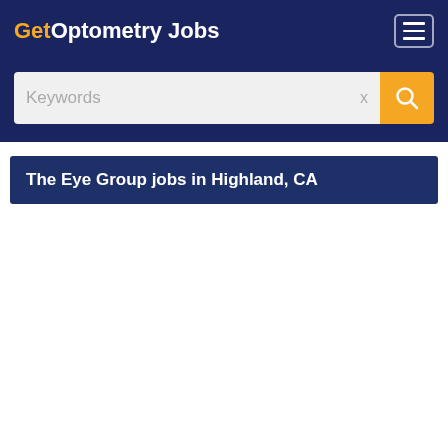Get Optometry Jobs
[Figure (screenshot): Search bar with Keywords placeholder text and an orange search button with magnifying glass icon]
The Eye Group jobs in Highland, CA